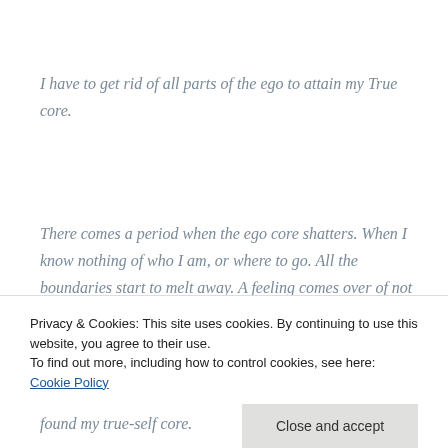I have to get rid of all parts of the ego to attain my True core.
There comes a period when the ego core shatters. When I know nothing of who I am, or where to go. All the boundaries start to melt away. A feeling comes over of not ...
Privacy & Cookies: This site uses cookies. By continuing to use this website, you agree to their use. To find out more, including how to control cookies, see here: Cookie Policy
Close and accept
found my true-self core.